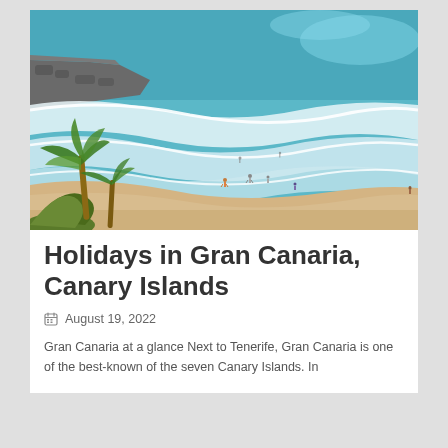[Figure (photo): Aerial view of a beach in Gran Canaria, Canary Islands. Ocean waves with white surf rolling onto a sandy beach. A rocky jetty visible in the upper left. Palm trees in the lower left foreground. Several people walking on the beach. Turquoise-blue water.]
Holidays in Gran Canaria, Canary Islands
August 19, 2022
Gran Canaria at a glance Next to Tenerife, Gran Canaria is one of the best-known of the seven Canary Islands. In